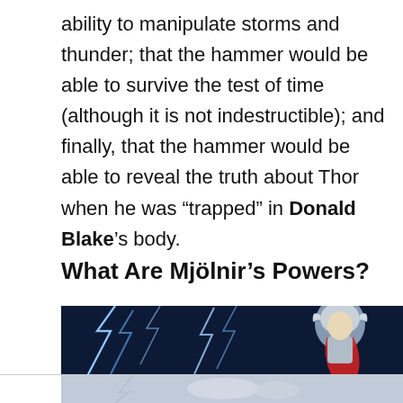ability to manipulate storms and thunder; that the hammer would be able to survive the test of time (although it is not indestructible); and finally, that the hammer would be able to reveal the truth about Thor when he was “trapped” in Donald Blake’s body.
What Are Mjölnir’s Powers?
[Figure (illustration): Comic book illustration of Thor in silver winged helmet with red cape, surrounded by bright blue lightning bolts on a dark blue background. Bottom portion shows a lighter grey-blue area.]